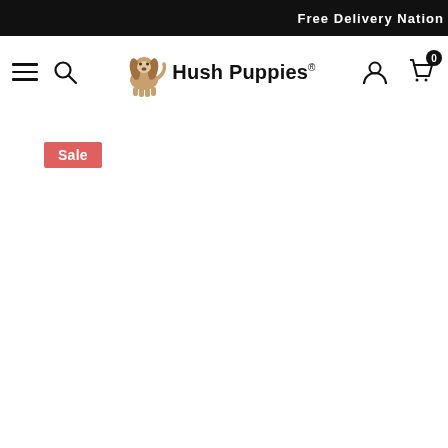Free Delivery Nation
[Figure (logo): Hush Puppies brand logo with basset hound dog icon and text 'Hush Puppies' with registered trademark symbol]
Sale